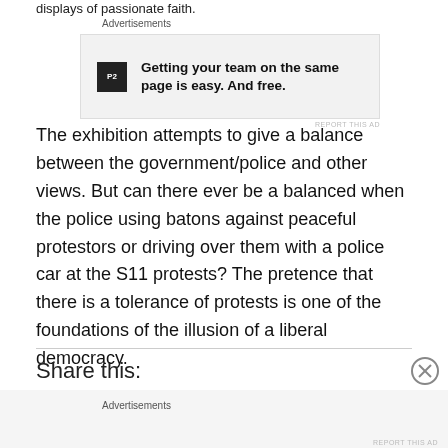displays of passionate faith.
Advertisements
[Figure (other): Advertisement for P2 with text: Getting your team on the same page is easy. And free.]
The exhibition attempts to give a balance between the government/police and other views. But can there ever be a balanced when the police using batons against peaceful protestors or driving over them with a police car at the S11 protests? The pretence that there is a tolerance of protests is one of the foundations of the illusion of a liberal democracy.
Share this:
Advertisements